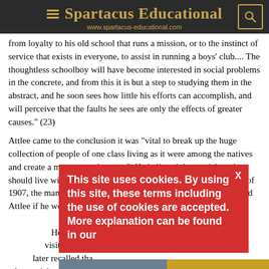Spartacus Educational
www.spartacus-educational.com
from loyalty to his old school that runs a mission, or to the instinct of service that exists in everyone, to assist in running a boys' club.... The thoughtless schoolboy will have become interested in social problems in the concrete, and from this it is but a step to studying them in the abstract, and he soon sees how little his efforts can accomplish, and will perceive that the faults he sees are only the effects of greater causes." (23)
Attlee came to the conclusion it was "vital to break up the huge collection of people of one class living as it were among the natives and create a more natural system". He believed that social workers should live with the people who they were serving. In the autumn of 1907, the manager of Haileybury House resigned and Nussey asked Attlee if he would be interested in taking over this leadership role. He was offered an annual salary of £50. He accepted and he moved into Haileybury House. He now had much more contact with the boys, including visiting their homes and getting to know their families. Attlee later recalled that this experience helped him "to understand what social conditions really meant..."
This site uses cookies. By using this site, these terms including the use of cookies are accepted. More explanation can be found in our
[Figure (photo): Advertisement banner showing an airplane with cargo and text 'WITHOUT REGARD TO POLITICS, RELIGION, OR ABILITY TO PAY']